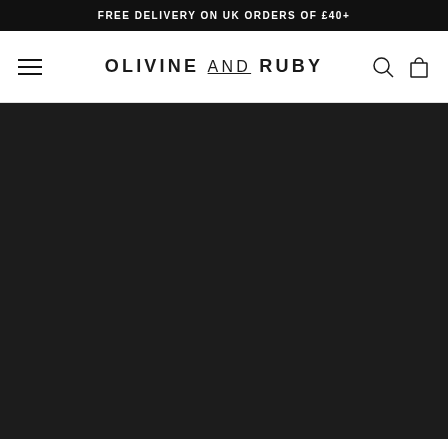FREE DELIVERY ON UK ORDERS OF £40+
OLIVINE AND RUBY
[Figure (other): Dark/black background content area below navigation, no visible content]